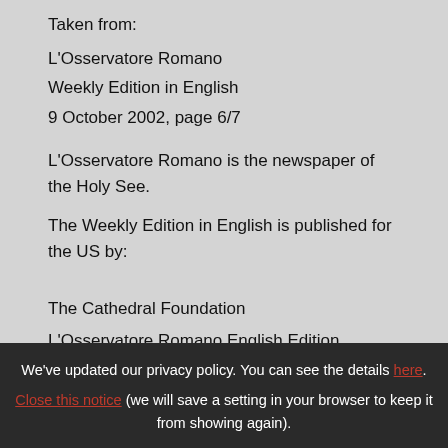Taken from:
L'Osservatore Romano
Weekly Edition in English
9 October 2002, page 6/7
L'Osservatore Romano is the newspaper of the Holy See.
The Weekly Edition in English is published for the US by:
The Cathedral Foundation
L'Osservatore Romano English Edition
We've updated our privacy policy. You can see the details here. Close this notice (we will save a setting in your browser to keep it from showing again).